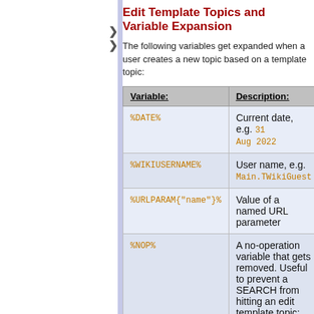Edit Template Topics and Variable Expansion
The following variables get expanded when a user creates a new topic based on a template topic:
| Variable: | Description: |
| --- | --- |
| %DATE% | Current date, e.g. 31 Aug 2022 |
| %WIKIUSERNAME% | User name, e.g. Main.TWikiGuest |
| %URLPARAM{"name"}% | Value of a named URL parameter |
| %NOP% | A no-operation variable that gets removed. Useful to prevent a SEARCH from hitting an edit template topic; also useful to escape a variable like %URLPARAM%NOP%{...}% |